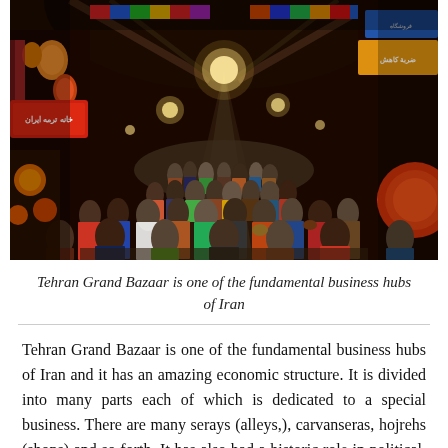[Figure (photo): A crowded Tehran Grand Bazaar interior with colorful signs in Farsi, hanging lights, and dense crowds of shoppers walking through the covered market alleyway.]
Tehran Grand Bazaar is one of the fundamental business hubs of Iran
Tehran Grand Bazaar is one of the fundamental business hubs of Iran and it has an amazing economic structure. It is divided into many parts each of which is dedicated to a special business. There are many serays (alleys,), carvanseras, hojrehs (shops) and so forth. It has also had a historic role in political, cultural,